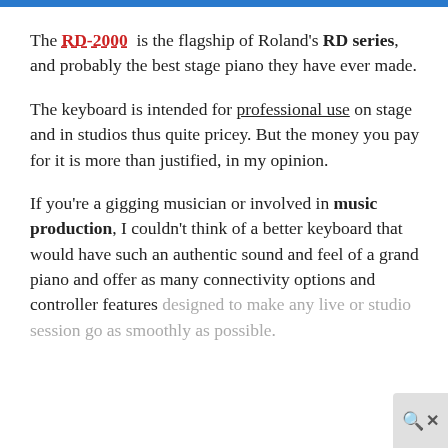The RD-2000 is the flagship of Roland's RD series, and probably the best stage piano they have ever made.
The keyboard is intended for professional use on stage and in studios thus quite pricey. But the money you pay for it is more than justified, in my opinion.
If you're a gigging musician or involved in music production, I couldn't think of a better keyboard that would have such an authentic sound and feel of a grand piano and offer as many connectivity options and controller features designed to make any live or studio session go as smoothly as possible.